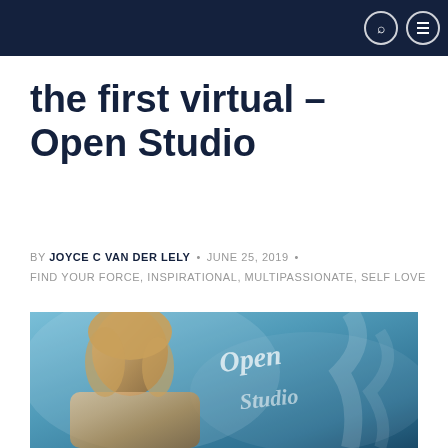the first virtual – Open Studio
BY JOYCE C VAN DER LELY • JUNE 25, 2019 • FIND YOUR FORCE, INSPIRATIONAL, MULTIPASSIONATE, SELF LOVE
[Figure (photo): Portrait of a blonde woman in front of a teal/blue background with 'Open Studio' written in handwritten script style text overlay]